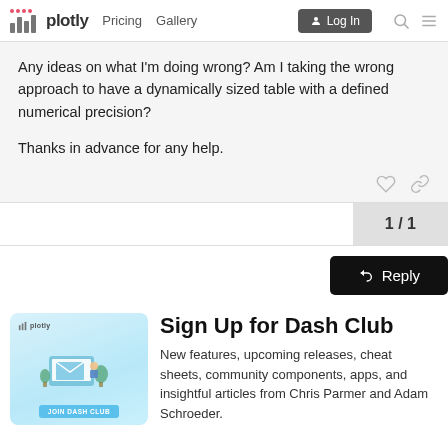plotly  Pricing  Gallery  Log In
Any ideas on what I'm doing wrong? Am I taking the wrong approach to have a dynamically sized table with a defined numerical precision?

Thanks in advance for any help.
1 / 1
Reply
[Figure (illustration): Plotly Dash Club promotional illustration showing a computer screen with email/envelope graphic, plants, and a 'JOIN DASH CLUB' button]
Sign Up for Dash Club
New features, upcoming releases, cheat sheets, community components, apps, and insightful articles from Chris Parmer and Adam Schroeder.